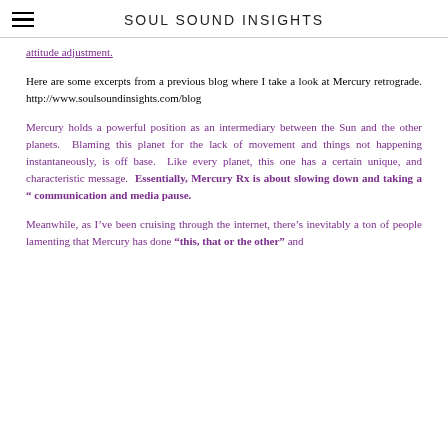SOUL SOUND INSIGHTS
attitude adjustment.
Here are some excerpts from a previous blog where I take a look at Mercury retrograde. http://www.soulsoundinsights.com/blog
Mercury holds a powerful position as an intermediary between the Sun and the other planets. Blaming this planet for the lack of movement and things not happening instantaneously, is off base. Like every planet, this one has a certain unique, and characteristic message. Essentially, Mercury Rx is about slowing down and taking a “ communication and media pause.
Meanwhile, as I’ve been cruising through the internet, there’s inevitably a ton of people lamenting that Mercury has done “this, that or the other” and